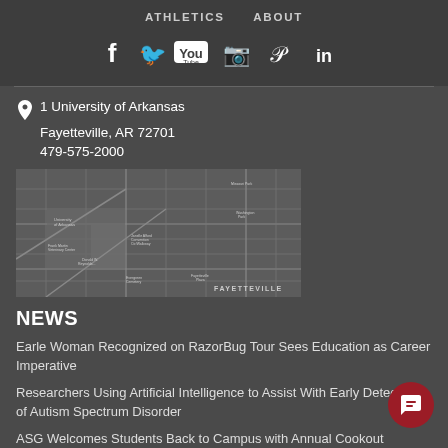ATHLETICS   ABOUT
[Figure (infographic): Social media icons: Facebook, Twitter, YouTube, Instagram, Pinterest, LinkedIn]
1 University of Arkansas
Fayetteville, AR 72701
479-575-2000
[Figure (map): Map of Fayetteville, AR showing University of Arkansas campus area. Label FAYETTEVILLE visible in lower right.]
NEWS
Earle Woman Recognized on RazorBug Tour Sees Education as Career Imperative
Researchers Using Artificial Intelligence to Assist With Early Detection of Autism Spectrum Disorder
ASG Welcomes Students Back to Campus with Annual Cookout